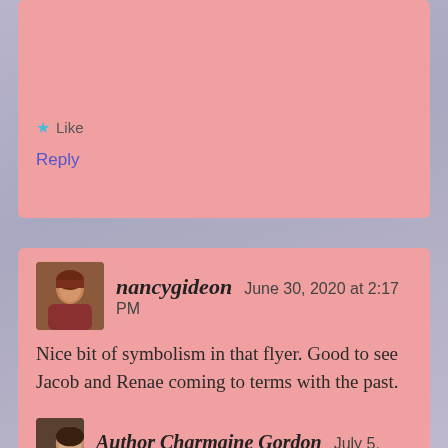★ Like
Reply
nancygideon   June 30, 2020 at 2:17 PM
Nice bit of symbolism in that flyer. Good to see Jacob and Renae coming to terms with the past.
★ Like
Reply
Author Charmaine Gordon   July 5,